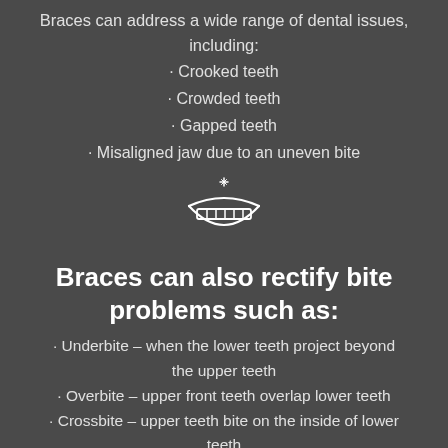Braces can address a wide range of dental issues, including:
· Crooked teeth
· Crowded teeth
· Gapped teeth
· Misaligned jaw due to an uneven bite
[Figure (illustration): White line-art icon of a smiling mouth with braces and a sparkle above it]
Braces can also rectify bite problems such as:
· Underbite – when the lower teeth project beyond the upper teeth
· Overbite – upper front teeth overlap lower teeth
· Crossbite – upper teeth bite on the inside of lower teeth
· Open bite – upper and lower teeth fail to make